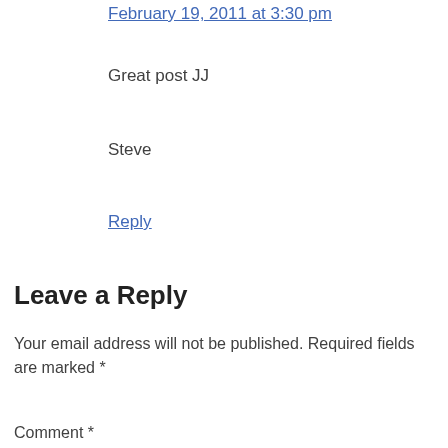February 19, 2011 at 3:30 pm
Great post JJ
Steve
Reply
Leave a Reply
Your email address will not be published. Required fields are marked *
Comment *